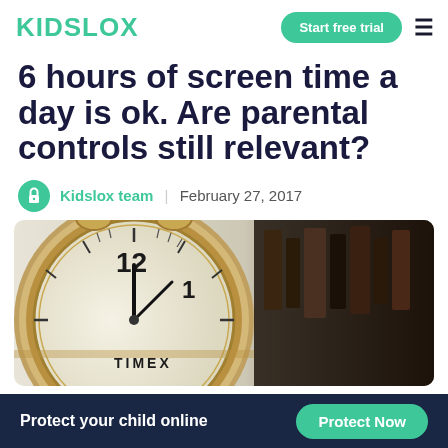KIDSLOX | Start free trial
6 hours of screen time a day is ok. Are parental controls still relevant?
Kidslox team | February 27, 2017
[Figure (photo): Close-up photo of a Timex analog alarm clock face showing 12 and 1, with a gold/cream colored clock body and dark blurred background]
Protect your child online  Protect Now